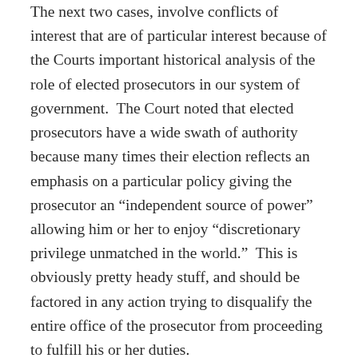The next two cases, involve conflicts of interest that are of particular interest because of the Courts important historical analysis of the role of elected prosecutors in our system of government.  The Court noted that elected prosecutors have a wide swath of authority because many times their election reflects an emphasis on a particular policy giving the prosecutor an “independent source of power” allowing him or her to enjoy “discretionary privilege unmatched in the world.”  This is obviously pretty heady stuff, and should be factored in any action trying to disqualify the entire office of the prosecutor from proceeding to fulfill his or her duties.
Potential Conflict Does Not Support